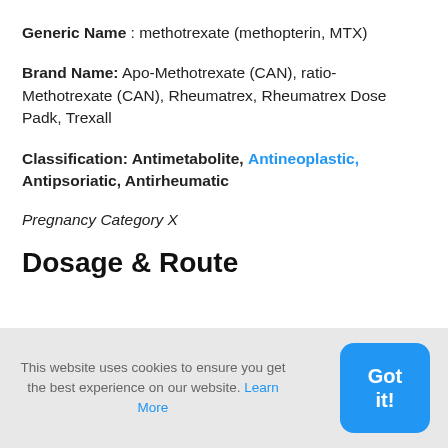Generic Name : methotrexate (methopterin, MTX)
Brand Name: Apo-Methotrexate (CAN), ratio-Methotrexate (CAN), Rheumatrex, Rheumatrex Dose Padk, Trexall
Classification: Antimetabolite, Antineoplastic, Antipsoriatic, Antirheumatic
Pregnancy Category X
Dosage & Route
This website uses cookies to ensure you get the best experience on our website. Learn More
Got it!